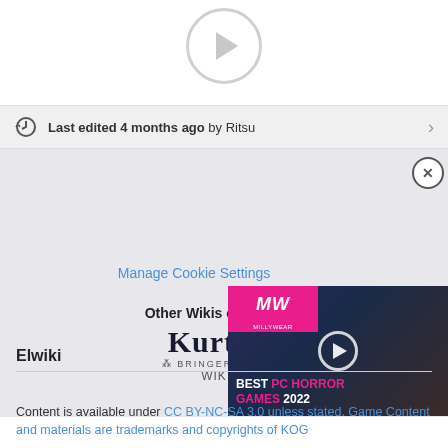[Figure (other): Play button circle icon at top of page]
Last edited 4 months ago by Ritsu
[Figure (screenshot): Gray content area with Manage Cookie Settings link, Other Wikis on text, Kurtz wiki logo, and video overlay showing BEST PC HORROR GAMES 2022 with ManyWays logo]
Elwiki
Content is available under CC BY-NC-SA 3.0 unless stated. Game Content and materials are trademarks and copyrights of KOG